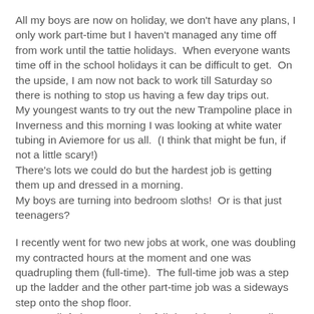All my boys are now on holiday, we don't have any plans, I only work part-time but I haven't managed any time off from work until the tattie holidays.  When everyone wants time off in the school holidays it can be difficult to get.  On the upside, I am now not back to work till Saturday so there is nothing to stop us having a few day trips out.
My youngest wants to try out the new Trampoline place in Inverness and this morning I was looking at white water tubing in Aviemore for us all.  (I think that might be fun, if not a little scary!)
There's lots we could do but the hardest job is getting them up and dressed in a morning.
My boys are turning into bedroom sloths!  Or is that just teenagers?
I recently went for two new jobs at work, one was doubling my contracted hours at the moment and one was quadrupling them (full-time).  The full-time job was a step up the ladder and the other part-time job was a sideways step onto the shop floor.
To my relief I haven't got the full-time job.  Why?  Well, I don't